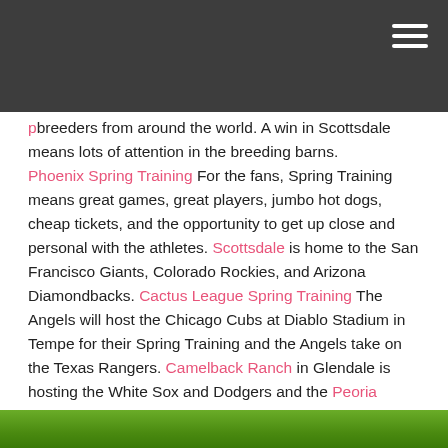[Navigation header with hamburger menu]
breeders from around the world. A win in Scottsdale means lots of attention in the breeding barns. Phoenix Spring Training For the fans, Spring Training means great games, great players, jumbo hot dogs, cheap tickets, and the opportunity to get up close and personal with the athletes. Scottsdale is home to the San Francisco Giants, Colorado Rockies, and Arizona Diamondbacks. Cactus League Spring Training The Angels will host the Chicago Cubs at Diablo Stadium in Tempe for their Spring Training and the Angels take on the Texas Rangers. Camelback Ranch in Glendale is hosting the White Sox and Dodgers and the Peoria Complex is hosting the Mariners and the Padres. The Surprise Stadium is the home of the Texas Rangers and the Kansas City Royals.
[Figure (photo): Green grass/field image strip at bottom of page]